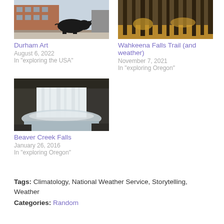[Figure (photo): Durham Art - photo of a black bull sculpture in front of a brick building]
Durham Art
August 6, 2022
In "exploring the USA"
[Figure (photo): Wahkeena Falls Trail - photo of tall dark tree trunks in a forest with golden undergrowth]
Wahkeena Falls Trail (and weather)
November 7, 2021
In "exploring Oregon"
[Figure (photo): Beaver Creek Falls - photo of a wide waterfall with mist in a rocky gorge]
Beaver Creek Falls
January 26, 2016
In "exploring Oregon"
Tags: Climatology, National Weather Service, Storytelling, Weather
Categories: Random